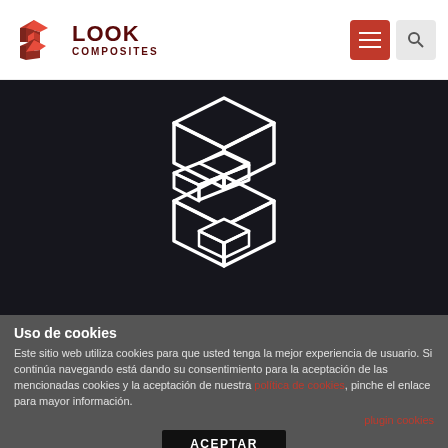[Figure (logo): Look Composites logo: red 3D geometric letter mark on the left, bold dark red text LOOK with COMPOSITES underneath]
[Figure (illustration): Large white outline 3D geometric letter mark (same as logo icon) on a very dark navy/black background, centered in hero area]
Uso de cookies
Este sitio web utiliza cookies para que usted tenga la mejor experiencia de usuario. Si continúa navegando está dando su consentimiento para la aceptación de las mencionadas cookies y la aceptación de nuestra política de cookies, pinche el enlace para mayor información.
plugin cookies
ACEPTAR